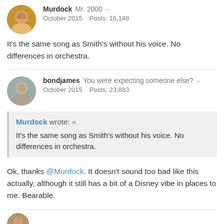Murdock  Mr. 2000  –
October 2015  Posts: 16,148
It's the same song as Smith's without his voice. No differences in orchestra.
bondjames  You were expecting someone else?  –
October 2015  Posts: 23,883
Murdock wrote: »
It's the same song as Smith's without his voice. No differences in orchestra.
Ok, thanks @Murdock. It doesn't sound too bad like this actually, although it still has a bit of a Disney vibe in places to me. Bearable.